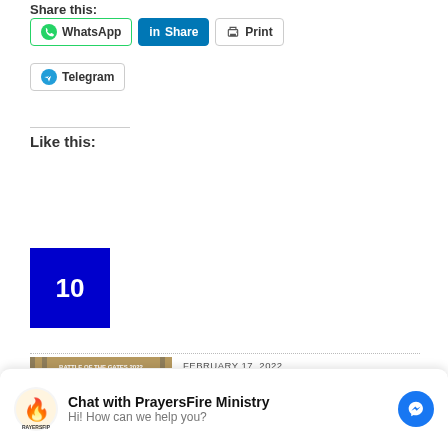Share this:
[Figure (other): Social share buttons: WhatsApp, LinkedIn Share, Print, Telegram]
Like this:
[Figure (other): Blue square with number 10]
[Figure (illustration): Article thumbnail for Day 1 Battle of the Gates fast-breaking prayers]
FEBRUARY 17, 2022
DAY 1 BATTLE OF THE GATES FAST-BREAKING PRAYERS
[Figure (other): Chat with PrayersFire Ministry messenger widget. Hi! How can we help you?]